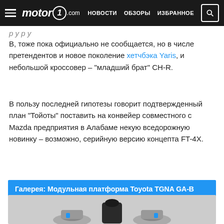motor1.com — НОВОСТИ  ОБЗОРЫ  ИЗБРАННОЕ
В, тоже пока официально не сообщается, но в числе претендентов и новое поколение хетчбэка Yaris, и небольшой кроссовер – "младший брат" CH-R.
В пользу последней гипотезы говорит подтвержденный план "Тойоты" поставить на конвейер совместного с Mazda предприятия в Алабаме некую вседорожную новинку – возможно, серийную версию концепта FT-4X.
Галерея: Модульная платформа Toyota TGNA GA-B
[Figure (photo): Partial photo of Toyota TGNA GA-B modular platform components on grey background]